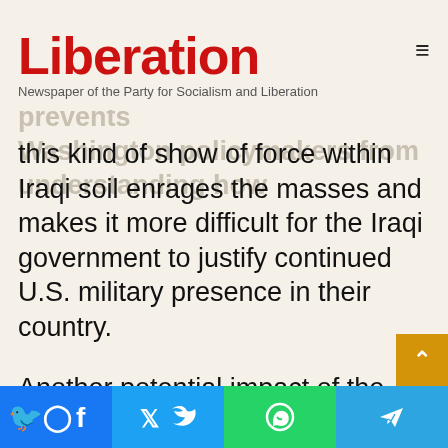Liberation
Newspaper of the Party for Socialism and Liberation
dropped flares over the area, in what it called a [faded] ...imperialist arrogance prevents Washington policymakers from understanding how this kind of show of force within Iraqi soil enrages the masses and makes it more difficult for the Iraqi government to justify continued U.S. military presence in their country.
Another potential impact of the U.S. bombings may be on the ongoing protest movement. Some individuals interviewed at Tahrir Square, the site of months-long protests against government corruption, made it clear that they were different from the demonstrators at the U.S. Embassy. The protests at the U.S. Embassy are likely to continue for some time and possibly result in a widespread
Facebook | Twitter | WhatsApp | Telegram